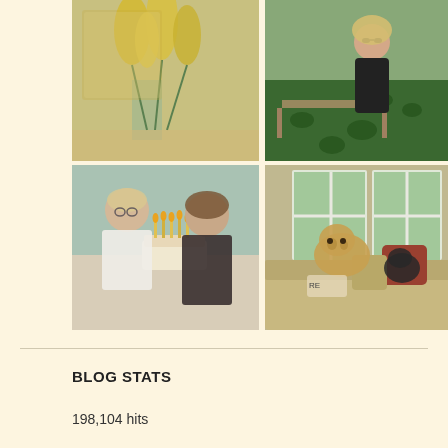[Figure (photo): 2x2 grid of four photos: top-left shows yellow gladiolus flowers in a glass vase on a table with a gold mirror behind; top-right shows a woman with sunglasses and black top standing on a wooden dock/bridge over a pond with lily pads; bottom-left shows two women smiling over a birthday cake with lit candles; bottom-right shows a golden/fluffy dog on a tan couch with decorative pillows near large windows with green trees outside.]
BLOG STATS
198,104 hits